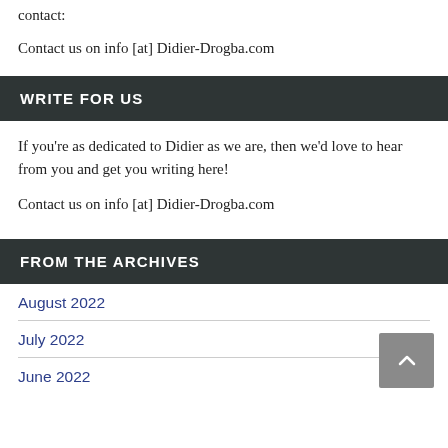contact:
Contact us on info [at] Didier-Drogba.com
WRITE FOR US
If you’re as dedicated to Didier as we are, then we’d love to hear from you and get you writing here!
Contact us on info [at] Didier-Drogba.com
FROM THE ARCHIVES
August 2022
July 2022
June 2022